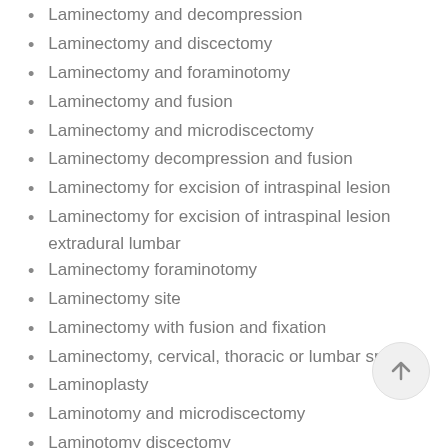Laminectomy and decompression
Laminectomy and discectomy
Laminectomy and foraminotomy
Laminectomy and fusion
Laminectomy and microdiscectomy
Laminectomy decompression and fusion
Laminectomy for excision of intraspinal lesion
Laminectomy for excision of intraspinal lesion extradural lumbar
Laminectomy foraminotomy
Laminectomy site
Laminectomy with fusion and fixation
Laminectomy, cervical, thoracic or lumbar spine
Laminoplasty
Laminotomy and microdiscectomy
Laminotomy discectomy
Laminotomy foraminotomy